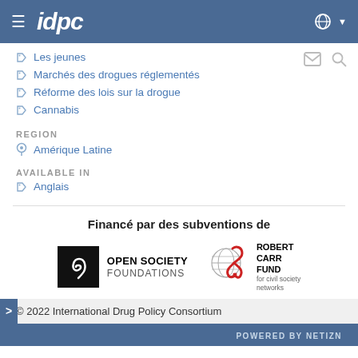idpc
Les jeunes
Marchés des drogues réglementés
Réforme des lois sur la drogue
Cannabis
REGION
Amérique Latine
AVAILABLE IN
Anglais
Financé par des subventions de
[Figure (logo): Open Society Foundations logo with spiral graphic]
[Figure (logo): Robert Carr Fund for civil society networks logo with red ribbon]
© 2022 International Drug Policy Consortium
POWERED BY NETIZN